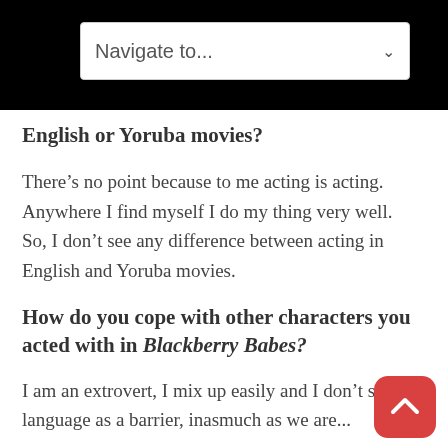Navigate to...
English or Yoruba movies?
There’s no point because to me acting is acting.  Anywhere I find myself I do my thing very well.  So, I don’t see any difference between acting in English and Yoruba movies.
How do you cope with other characters you acted with in Blackberry Babes?
I am an extrovert, I mix up easily and I don’t see language as a barrier, inasmuch as we are...